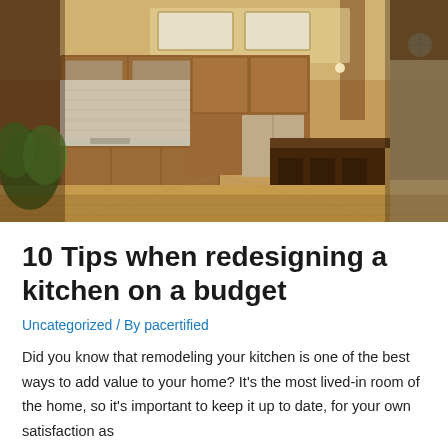[Figure (photo): Interior photo of a large, modern kitchen with wooden cabinetry, granite countertops, a central island with bar stools, hardwood flooring, skylight windows, recessed lighting, and exposed ceiling beams. Green plant visible on the left.]
10 Tips when redesigning a kitchen on a budget
Uncategorized / By pacertified
Did you know that remodeling your kitchen is one of the best ways to add value to your home? It's the most lived-in room of the home, so it's important to keep it up to date, for your own satisfaction as